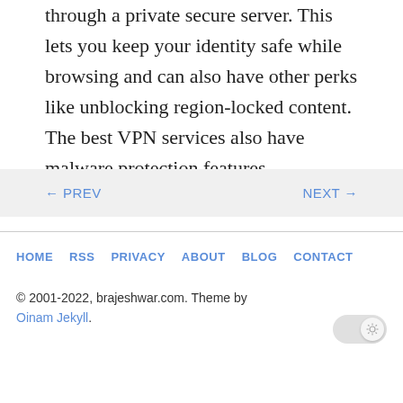through a private secure server. This lets you keep your identity safe while browsing and can also have other perks like unblocking region-locked content. The best VPN services also have malware protection features.
← PREV   NEXT →
HOME   RSS   PRIVACY   ABOUT   BLOG   CONTACT
© 2001-2022, brajeshwar.com. Theme by Oinam Jekyll.